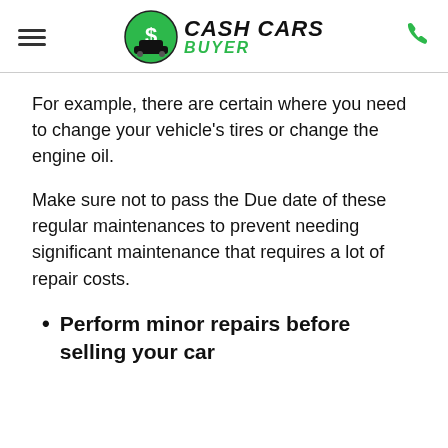Cash Cars Buyer
For example, there are certain where you need to change your vehicle's tires or change the engine oil.
Make sure not to pass the Due date of these regular maintenances to prevent needing significant maintenance that requires a lot of repair costs.
Perform minor repairs before selling your car